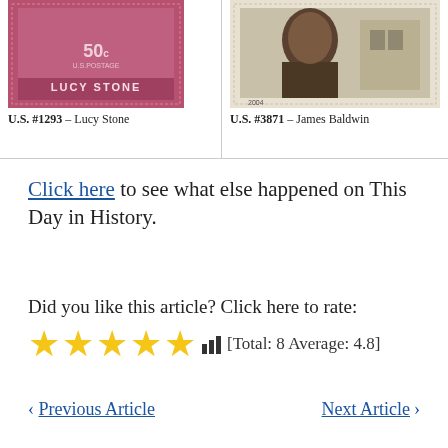[Figure (photo): U.S. postage stamp #1293 depicting Lucy Stone, 50 cent stamp in rose/pink color]
U.S. #1293 – Lucy Stone
[Figure (photo): U.S. postage stamp #3871 depicting James Baldwin with a street scene background]
U.S. #3871 – James Baldwin
Click here to see what else happened on This Day in History.
Did you like this article? Click here to rate:
★★★★★ [Total: 8 Average: 4.8]
< Previous Article
Next Article >